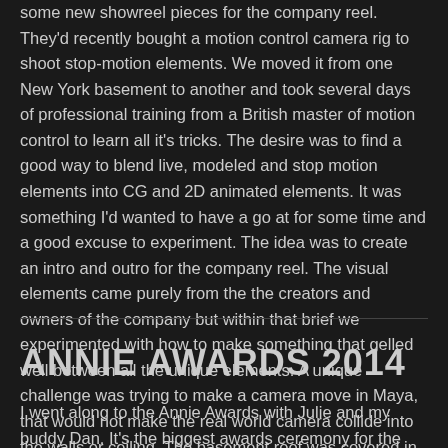some new showreel pieces for the company reel. They'd recently bought a motion control camera rig to shoot stop-motion elements. We moved it from one New York basement to another and took several days of professional training from a British master of motion control to learn all it's tricks. The desire was to find a good way to blend live, modeled and stop motion elements into CG and 2D animated elements. It was something I'd wanted to have a go at for some time and a good excuse to experiment. The idea was to create an intro and outro for the company reel. The visual elements came purely from the the creators and owners of the company but within that brief we experimented with how to make something that gelled well between all the unique elements. A unique challenge was trying to make a camera move in Maya, that would not make the real world camera collide into the walls or ceiling. The basement roof was covered in pipes and there were pillars to avoid. This is a very [...]
ANNIE AWARDS 2014
I went along to the Annie Awards with Julie and my buddy Dan. It's the biggest awards ceremony for the animation industry. Still very